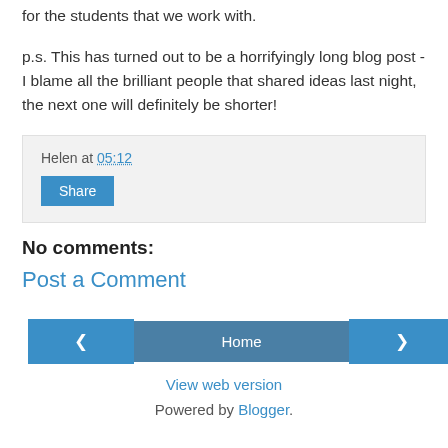for the students that we work with.
p.s. This has turned out to be a horrifyingly long blog post - I blame all the brilliant people that shared ideas last night, the next one will definitely be shorter!
Helen at 05:12
Share
No comments:
Post a Comment
Home
View web version
Powered by Blogger.